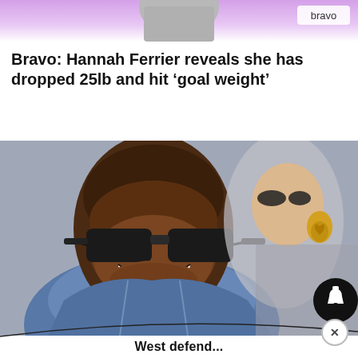[Figure (photo): Top advertisement banner with purple gradient background and partial figure in gray, with Bravo logo pill in top right corner]
Bravo: Hannah Ferrier reveals she has dropped 25lb and hit ‘goal weight’
[Figure (photo): Close-up photo of a man wearing dark rectangular sunglasses and a denim jacket, smiling. A woman with dramatic eye makeup and gold heart earrings is visible in the background. A notification bell icon overlay appears at bottom right.]
West defend...